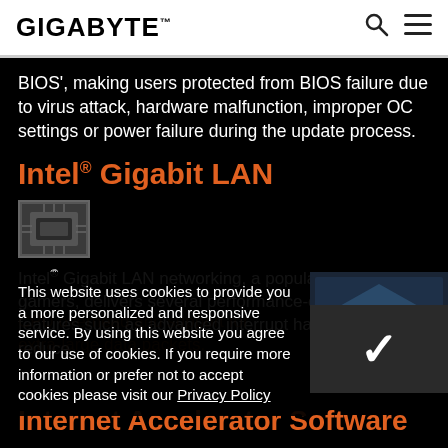GIGABYTE
BIOS', making users protected from BIOS failure due to virus attack, hardware malfunction, improper OC settings or power failure during the update process.
Intel® Gigabit LAN
[Figure (photo): Close-up photo of an Intel Gigabit LAN chip on a circuit board]
Intel® Gigabit LAN networking, a popular choice with gamers, delivers several performance-enhancing features such as advanced interrupt handling to help reduce CPU overhead and support for extra-large data packets.
This website uses cookies to provide you a more personalized and responsive service. By using this website you agree to our use of cookies. If you require more information or prefer not to accept cookies please visit our Privacy Policy
Internet Accelerator Software